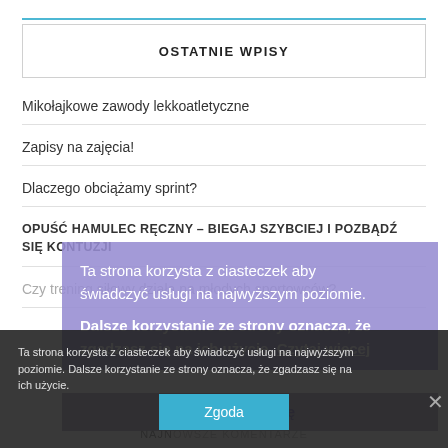OSTATNIE WPISY
Mikołajkowe zawody lekkoatletyczne
Zapisy na zajęcia!
Dlaczego obciążamy sprint?
OPUŚĆ HAMULEC RĘCZNY – BIEGAJ SZYBCIEJ I POZBĄDŹ SIĘ KONTUZJI
Czy trening siłowy działa na młodych sportowców?
Ta strona korzysta z ciasteczek aby świadczyć usługi na najwyższym poziomie. Dalsze korzystanie ze strony oznacza, że zgadzasz się na ich użycie. Czytaj więcej
Zgadzam się
Ta strona korzysta z ciasteczek aby świadczyć usługi na najwyższym poziomie. Dalsze korzystanie ze strony oznacza, że zgadzasz się na ich użycie.
Zgoda
NAJNOWSZE KOMENTARZE